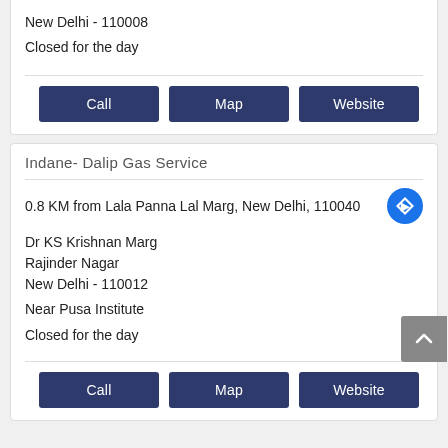New Delhi - 110008
Closed for the day
Call
Map
Website
Indane- Dalip Gas Service
0.8 KM from Lala Panna Lal Marg, New Delhi, 110040
Dr KS Krishnan Marg
Rajinder Nagar
New Delhi - 110012
Near Pusa Institute
Closed for the day
Call
Map
Website